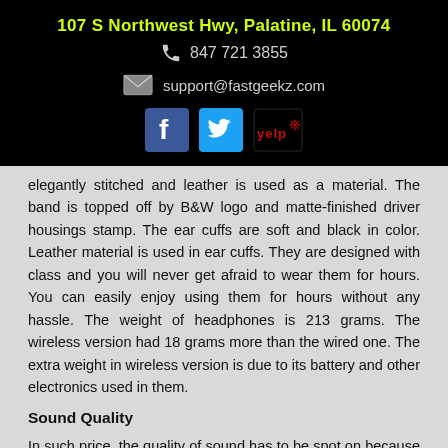107 S Northwest Hwy, Palatine, IL 60074
847 721 3855
support@fastgeekz.com
[Figure (logo): Social media icons: Facebook, Twitter, Yelp]
elegantly stitched and leather is used as a material. The band is topped off by B&W logo and matte-finished driver housings stamp. The ear cuffs are soft and black in color. Leather material is used in ear cuffs. They are designed with class and you will never get afraid to wear them for hours. You can easily enjoy using them for hours without any hassle. The weight of headphones is 213 grams. The wireless version had 18 grams more than the wired one. The extra weight in wireless version is due to its battery and other electronics used in them.
Sound Quality
In such price, the quality of sound has to be spot on because you are spending too much for this. But there is no need to worry about. The headphones sound great. If you like playing bass-loaded tracks and want to enjoy them. The B&W P5 will never lack